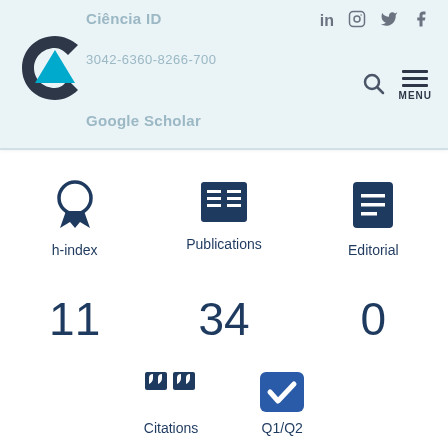[Figure (screenshot): Ciência ID website header with logo (dark and cyan triangular C logo), navigation links (Ciência ID, ORCID number 3042-6360-8266-700, Google Scholar), social media icons (LinkedIn, Instagram, Twitter, Facebook), search icon, and hamburger MENU button on a light blue background.]
[Figure (infographic): Academic metrics display showing three stats: h-index (award ribbon icon) = 11, Publications (grid/list icon) = 34, Editorial (document icon) = 0]
[Figure (infographic): Bottom partial row showing Citations (quote icon) and Q1/Q2 (checkbox icon), labels partially visible at bottom]